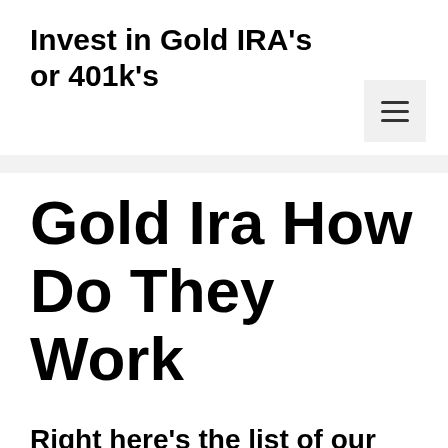Invest in Gold IRA's or 401k's
Gold Ira How Do They Work
Right here's the list of our Leading 3: